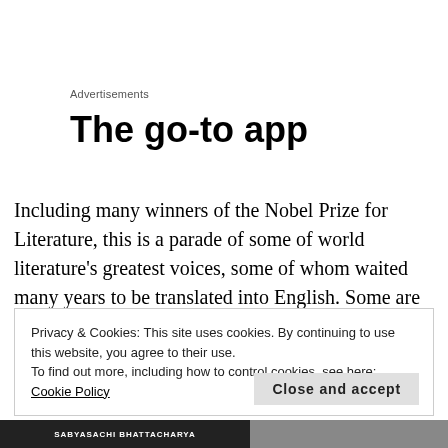Advertisements
The go-to app
Including many winners of the Nobel Prize for Literature, this is a parade of some of world literature's greatest voices, some of whom waited many years to be translated into English. Some are household names, some less well known outside their own continents: all open worlds of
Privacy & Cookies: This site uses cookies. By continuing to use this website, you agree to their use.
To find out more, including how to control cookies, see here: Cookie Policy
Close and accept
SABYASACHI BHATTACHARYA